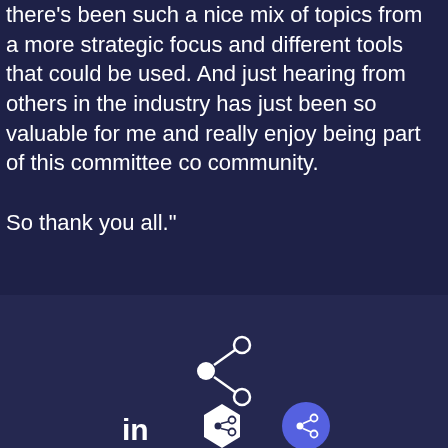there's been such a nice mix of topics from a more strategic focus and different tools that could be used. And just hearing from others in the industry has just been so valuable for me and really enjoy being part of this committee co community.

So thank you all."
[Figure (illustration): Share icon (circle with two connecting nodes) centered in the lower section]
[Figure (illustration): LinkedIn icon (in), a hexagonal share icon, and a circular share icon in the bottom bar]